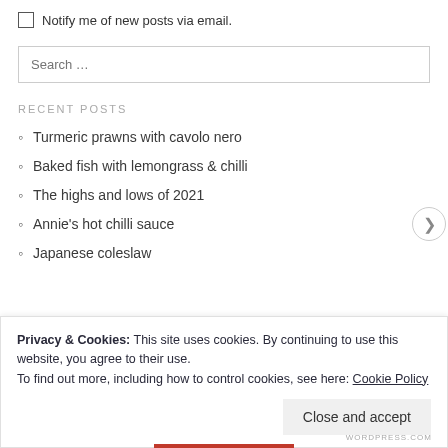Notify me of new posts via email.
Search …
RECENT POSTS
Turmeric prawns with cavolo nero
Baked fish with lemongrass & chilli
The highs and lows of 2021
Annie's hot chilli sauce
Japanese coleslaw
Privacy & Cookies: This site uses cookies. By continuing to use this website, you agree to their use.
To find out more, including how to control cookies, see here: Cookie Policy
Close and accept